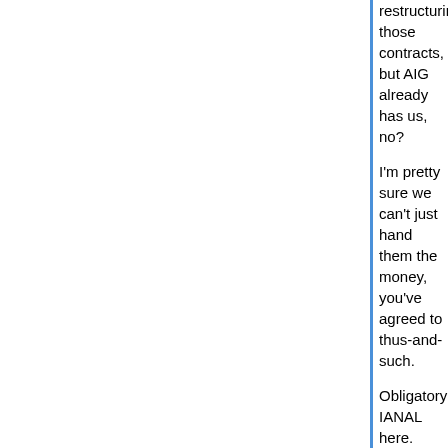restructuring those contracts, but AIG already has us, no?
I'm pretty sure we can't just hand them the money, you've agreed to thus-and-such.
Obligatory IANAL here.
Posted by: Slartibartfast | March 16, 2009 at 12:02 PM
Does that mean we can or even should do away
No, not at all.
My response to your post was, more or less, a kn reference to the history of corporations. It wasn't p at hand.
It's a topic I find interesting, but would be kind of a time, perhaps.
My apologies.
Also:
IMO gregspolitics makes some excellent points, a after the bonuses as illegally excessive compens